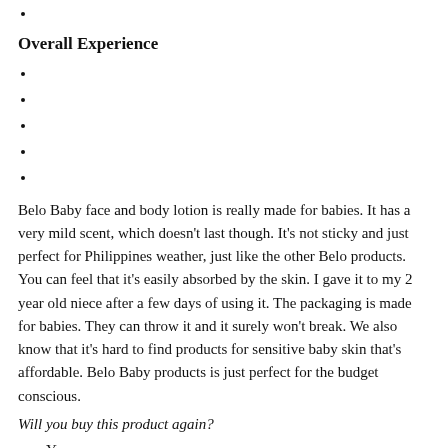Overall Experience
Belo Baby face and body lotion is really made for babies. It has a very mild scent, which doesn't last though. It's not sticky and just perfect for Philippines weather, just like the other Belo products. You can feel that it's easily absorbed by the skin. I gave it to my 2 year old niece after a few days of using it. The packaging is made for babies. They can throw it and it surely won't break. We also know that it's hard to find products for sensitive baby skin that's affordable. Belo Baby products is just perfect for the budget conscious.
Will you buy this product again?
Yes
No
Maybe